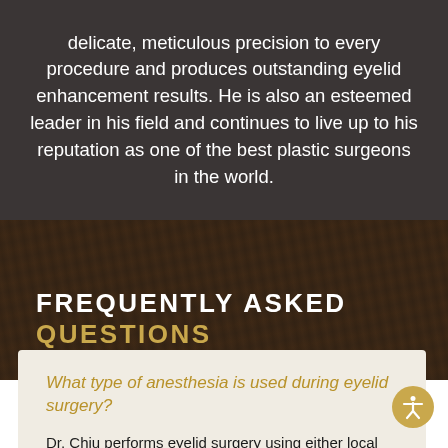delicate, meticulous precision to every procedure and produces outstanding eyelid enhancement results. He is also an esteemed leader in his field and continues to live up to his reputation as one of the best plastic surgeons in the world.
FREQUENTLY ASKED QUESTIONS
What type of anesthesia is used during eyelid surgery?
Dr. Chiu performs eyelid surgery using either local anesthesia or general anesthesia under the supervision of a board-certified anesthesiologist to ensure patient comfort and safety.